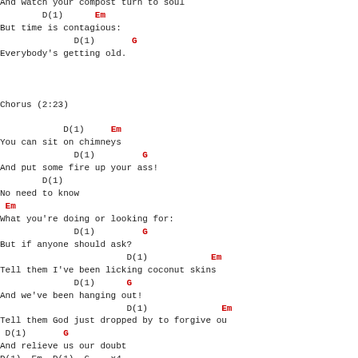And watch your compost turn to soul
D(1)      Em
But time is contagious:
D(1)       G
Everybody's getting old.
Chorus (2:23)
D(1)     Em
You can sit on chimneys
D(1)         G
And put some fire up your ass!
D(1)
No need to know
Em
What you're doing or looking for:
D(1)         G
But if anyone should ask?
D(1)            Em
Tell them I've been licking coconut skins
D(1)      G
And we've been hanging out!
D(1)              Em
Tell them God just dropped by to forgive ou
D(1)       G
And relieve us our doubt
D(1), Em, D(1), G    x4
Lalalalalalalalaaaa